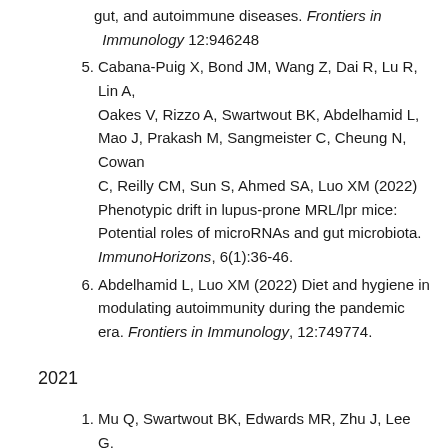gut, and autoimmune diseases. Frontiers in Immunology 12:946248
5. Cabana-Puig X, Bond JM, Wang Z, Dai R, Lu R, Lin A, Oakes V, Rizzo A, Swartwout BK, Abdelhamid L, Mao J, Prakash M, Sangmeister C, Cheung N, Cowan C, Reilly CM, Sun S, Ahmed SA, Luo XM (2022) Phenotypic drift in lupus-prone MRL/lpr mice: Potential roles of microRNAs and gut microbiota. ImmunoHorizons, 6(1):36-46.
6. Abdelhamid L, Luo XM (2022) Diet and hygiene in modulating autoimmunity during the pandemic era. Frontiers in Immunology, 12:749774.
2021
1. Mu Q, Swartwout BK, Edwards MR, Zhu J, Lee G, Eden K, Cabana-Puig X, McDaniel DK, Mao J, Abdelhamid L, Bond BK, Nia IC, Reilly CM, ...